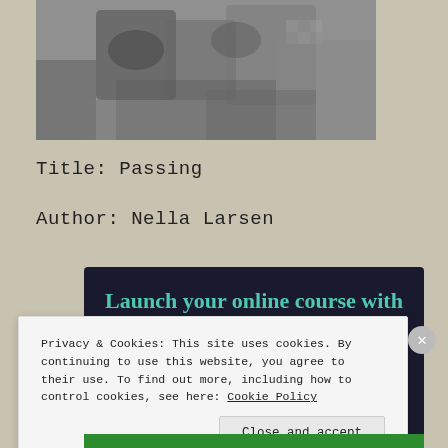[Figure (photo): Black and white photograph showing people, partially cropped at top]
Title: Passing
Author: Nella Larsen
[Figure (infographic): Dark navy advertisement banner reading 'Launch your online course with WordPress' with a teal 'Learn More' button]
Privacy & Cookies: This site uses cookies. By continuing to use this website, you agree to their use. To find out more, including how to control cookies, see here: Cookie Policy
Close and accept